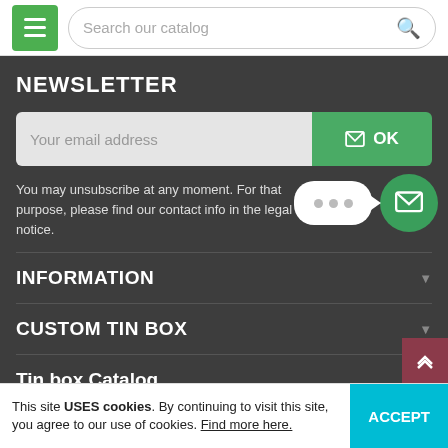Search our catalog
NEWSLETTER
Your email address
OK
You may unsubscribe at any moment. For that purpose, please find our contact info in the legal notice.
INFORMATION
CUSTOM TIN BOX
Tin box Catalog
Copyright ©2019 best tin cans and best manufacturer. All rights reserved.
This site USES cookies. By continuing to visit this site, you agree to our use of cookies. Find more here.
ACCEPT